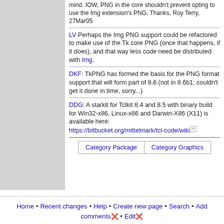mind. IOW, PNG in the core shouldn't prevent opting to use the Img extension's PNG. Thanks, Roy Terry, 27Mar05
LV Perhaps the Img PNG support could be refactored to make use of the Tk core PNG (once that happens, if it does), and that way less code need be distributed with Img.
DKF: TkPNG has formed the basis for the PNG format support that will form part of 8.6 (not in 8.6b1; couldn't get it done in time, sorry...)
DDG: A starkit for Tclkit 8.4 and 8.5 with binary build for Win32-x86, Linux-x86 and Darwin-X86 (X11) is available here: https://bitbucket.org/mittelmark/tcl-code/wiki
Category Package | Category Graphics
Home • Recent changes • Help • Create new page • Search • Add comments ❌ • Edit ❌